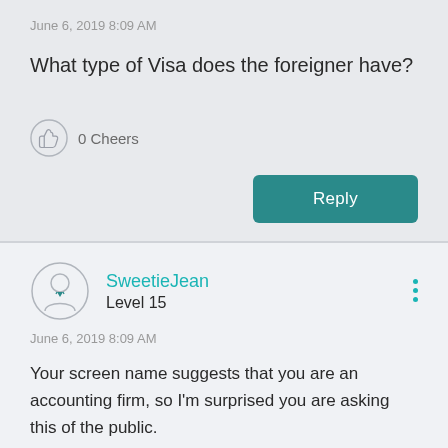June 6, 2019 8:09 AM
What type of Visa does the foreigner have?
0 Cheers
Reply
SweetieJean
Level 15
June 6, 2019 8:09 AM
Your screen name suggests that you are an accounting firm, so I'm surprised you are asking this of the public.
Foreigners who are here on a tourist visa cannot